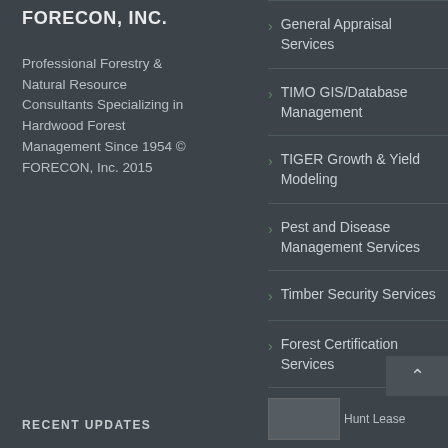FORECON, INC.
Professional Forestry & Natural Resource Consultants Specializing in Hardwood Forest Management Since 1954 © FORECON, Inc. 2015
General Appraisal Services
TIMO GIS/Database Management
TIGER Growth & Yield Modeling
Pest and Disease Management Services
Timber Security Services
Forest Certification Services
RECENT UPDATES
[Figure (photo): Hunt Lease image placeholder]